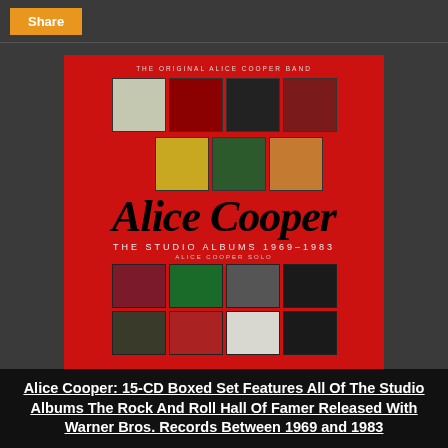Share
[Figure (photo): Alice Cooper: The Studio Albums 1969-1983 box set cover. Red background with album thumbnails arranged in rows, featuring the Alice Cooper gothic logo in the center and text 'The Studio Albums 1969-1983'.]
Alice Cooper: 15-CD Boxed Set Features All Of The Studio Albums The Rock And Roll Hall Of Famer Released With Warner Bros. Records Between 1969 and 1983